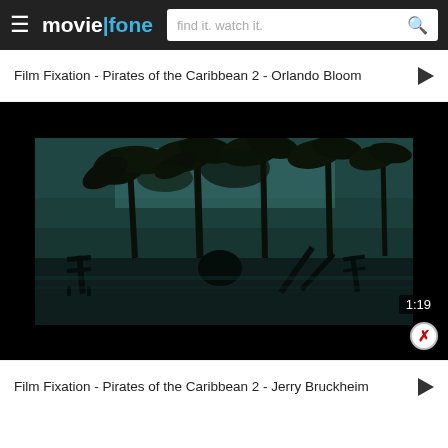moviefone — find it. watch it.
Film Fixation - Pirates of the Caribbean 2 - Orlando Bloom
[Figure (screenshot): Video player showing a dark, teal-toned cinematic scene from Pirates of the Caribbean 2 with palm trees, chairs, and water in the background. Timestamp 1:19 shown in bottom right.]
Film Fixation - Pirates of the Caribbean 2 - Jerry Bruckheim